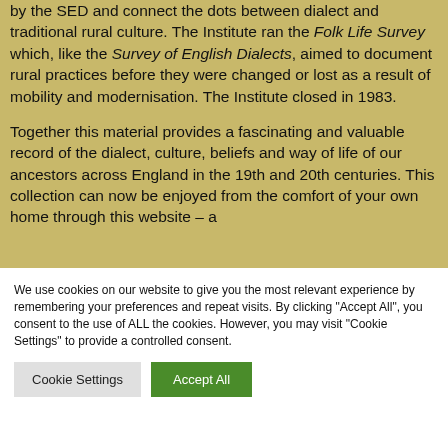by the SED and connect the dots between dialect and traditional rural culture. The Institute ran the Folk Life Survey which, like the Survey of English Dialects, aimed to document rural practices before they were changed or lost as a result of mobility and modernisation. The Institute closed in 1983.

Together this material provides a fascinating and valuable record of the dialect, culture, beliefs and way of life of our ancestors across England in the 19th and 20th centuries. This collection can now be enjoyed from the comfort of your own home through this website – a
We use cookies on our website to give you the most relevant experience by remembering your preferences and repeat visits. By clicking "Accept All", you consent to the use of ALL the cookies. However, you may visit "Cookie Settings" to provide a controlled consent.